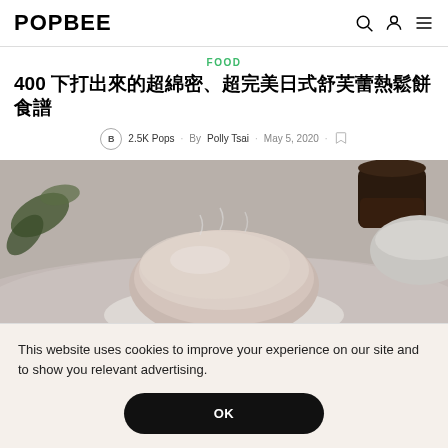POPBEE
FOOD
400 下打出來的超綿密、超完美日式舒芙蕾熱鬆餅食譜
2.5K Pops · By Polly Tsai · May 5, 2020
[Figure (photo): Close-up photo of a fluffy Japanese soufflé pancake on a plate, with a dark cup of coffee and decorative leaves in the background]
This website uses cookies to improve your experience on our site and to show you relevant advertising.
OK